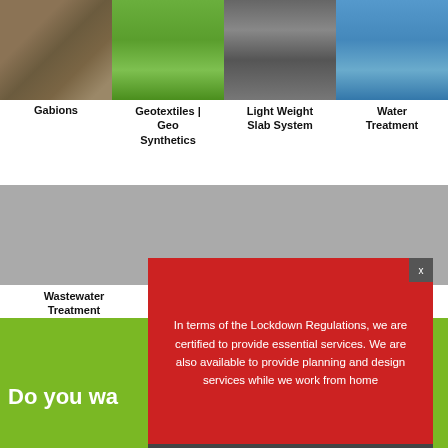[Figure (photo): Photo of gabion wall with rocks]
Gabions
[Figure (photo): Green hillside with geotextile/geosynthetics]
Geotextiles | Geo Synthetics
[Figure (photo): Light weight slab system grid view from above]
Light Weight Slab System
[Figure (photo): Water treatment facility aerial view]
Water Treatment
[Figure (illustration): Wastewater treatment diagram showing house with pipes]
Wastewater Treatment
[Figure (photo): Green field for rainwater harvesting]
Rainwater Harvesting
[Figure (schematic): Environmental management plant layout diagram]
Environmental Management
Do you wa
In terms of the Lockdown Regulations, we are certified to provide essential services. We are also available to provide planning and design services while we work from home